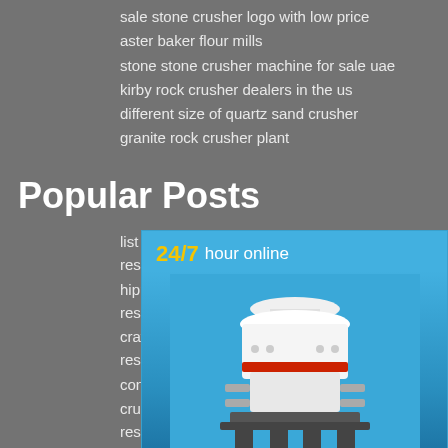sale stone crusher logo with low price
aster baker flour mills
stone stone crusher machine for sale uae
kirby rock crusher dealers in the us
different size of quartz sand crusher
granite rock crusher plant
Popular Posts
list of qatar quarry companies in gh... results
hippo hammer mill zimbabwe conta... results
crawler mobile crushing and screen... results
cone crusher mantle liner search re...
crusher stone crusher suppliers in a... results
[Figure (infographic): 24/7 hour online widget with cone crusher machine image, Click me to chat>> button, Enquiry section, and limingjlmofen text on blue background]